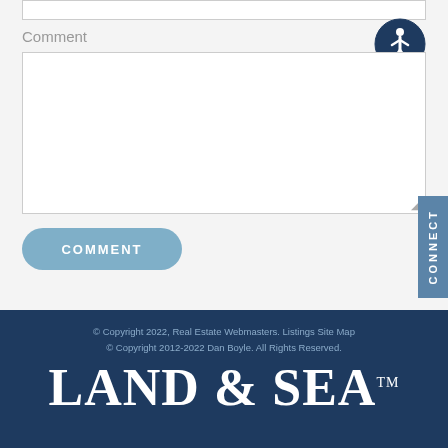Comment
[Figure (illustration): Accessibility icon — circular dark blue badge with a person/wheelchair symbol in white]
Comment textarea (empty input field)
COMMENT (button)
CONNECT (vertical side tab)
© Copyright 2022, Real Estate Webmasters. Listings Site Map
© Copyright 2012-2022 Dan Boyle. All Rights Reserved.
LAND & SEA™